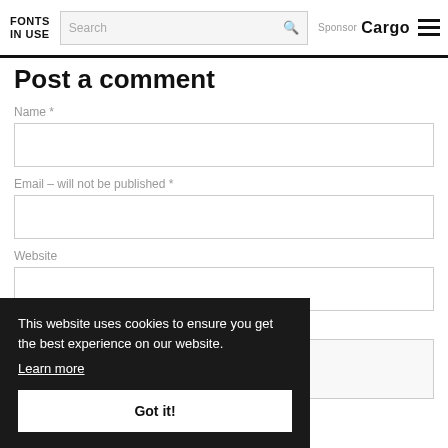FONTS IN USE | Search | Sponsor Cargo
Post a comment
Name *
Email – will not be published *
Website
Your response *
This website uses cookies to ensure you get the best experience on our website. Learn more
Got it!